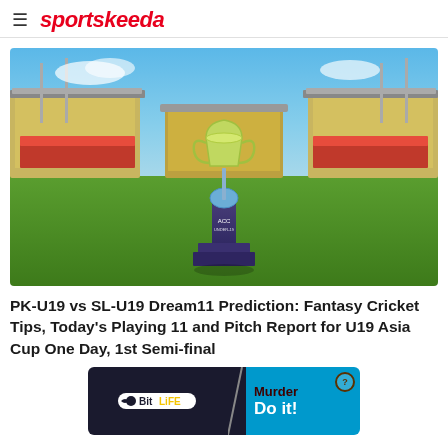sportskeeda
[Figure (photo): Cricket trophy/cup displayed on a pedestal on a cricket ground, with a stadium grandstand visible in the background under a blue sky.]
PK-U19 vs SL-U19 Dream11 Prediction: Fantasy Cricket Tips, Today's Playing 11 and Pitch Report for U19 Asia Cup One Day, 1st Semi-final
[Figure (other): BitLife advertisement banner. Left side shows dark background with a sperm-like logo and 'BitLife' branding. Right side shows blue background with 'Murder' text and 'Do it!' call to action.]